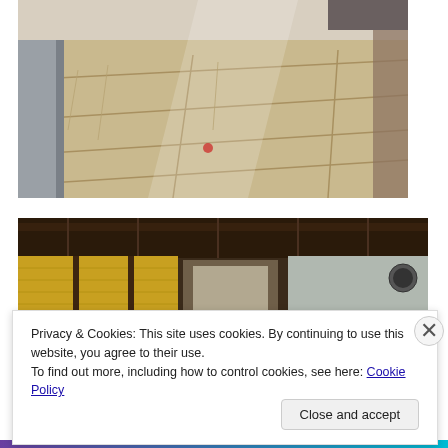[Figure (photo): Interior construction photo showing plywood subfloor with light rays from above, structural columns visible, unfinished room]
[Figure (photo): Interior construction photo showing north side of room with exposed insulation (yellow fiberglass batts), wall framing, silver vapor barrier, and exposed ceiling joists]
Privacy & Cookies: This site uses cookies. By continuing to use this website, you agree to their use.
To find out more, including how to control cookies, see here: Cookie Policy
Close and accept